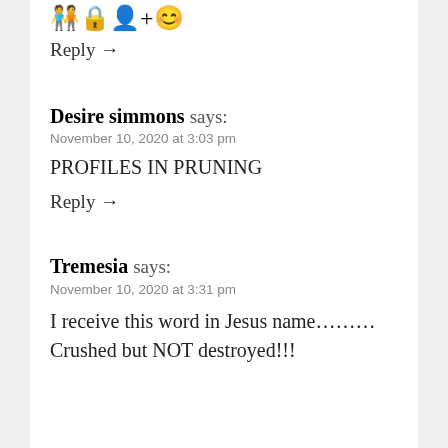[Figure (other): Emoji icons row at top of page]
Reply →
Desire simmons says:
November 10, 2020 at 3:03 pm
PROFILES IN PRUNING
Reply →
Tremesia says:
November 10, 2020 at 3:31 pm
I receive this word in Jesus name………Crushed but NOT destroyed!!!